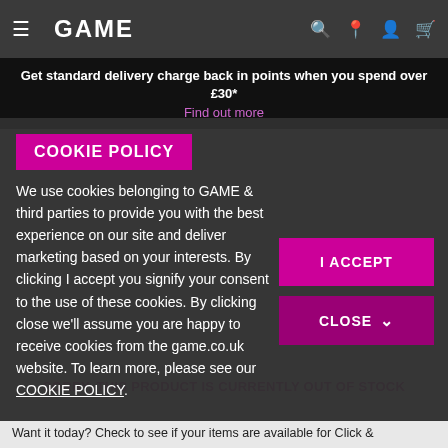GAME
Get standard delivery charge back in points when you spend over £30*
Find out more
COOKIE POLICY
We use cookies belonging to GAME & third parties to provide you with the best experience on our site and deliver marketing based on your interests. By clicking I accept you signify your consent to the use of these cookies. By clicking close we'll assume you are happy to receive cookies from the game.co.uk website. To learn more, please see our COOKIE POLICY.
I ACCEPT
CLOSE
SORRY, THIS PRODUCT IS CURRENTLY OUT OF STOCK
Want it today? Check to see if your items are available for Click &